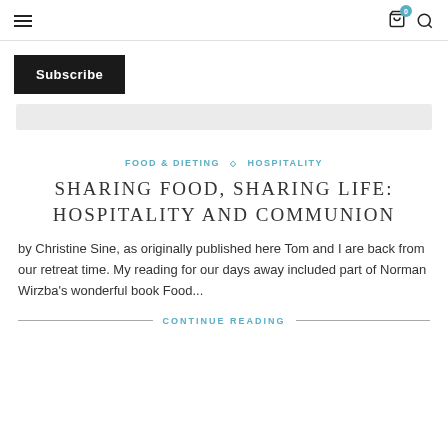☰ [cart icon with badge 0] [search icon]
Subscribe
FOOD & DIETING ◇ HOSPITALITY
SHARING FOOD, SHARING LIFE: HOSPITALITY AND COMMUNION
by Christine Sine, as originally published here Tom and I are back from our retreat time. My reading for our days away included part of Norman Wirzba's wonderful book Food...
CONTINUE READING